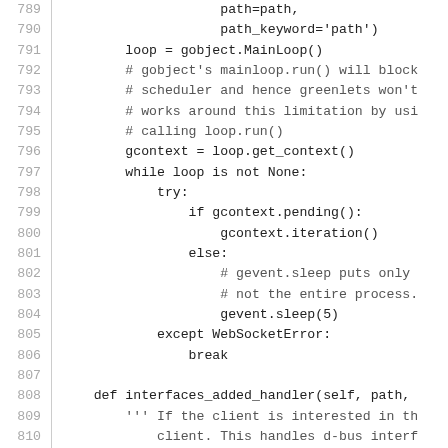Code listing lines 789-818
[Figure (screenshot): Python source code snippet showing lines 789 to 818, including a GObject main loop integration with gevent, a while loop with gcontext iteration, WebSocketError handling, and an interfaces_added_handler method definition.]